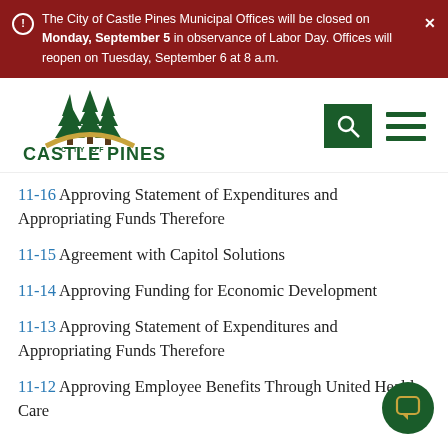The City of Castle Pines Municipal Offices will be closed on Monday, September 5 in observance of Labor Day. Offices will reopen on Tuesday, September 6 at 8 a.m.
[Figure (logo): City of Castle Pines logo with pine trees and gold arc, with text CITY OF CASTLE PINES]
11-16 Approving Statement of Expenditures and Appropriating Funds Therefore
11-15 Agreement with Capitol Solutions
11-14 Approving Funding for Economic Development
11-13 Approving Statement of Expenditures and Appropriating Funds Therefore
11-12 Approving Employee Benefits Through United Health Care